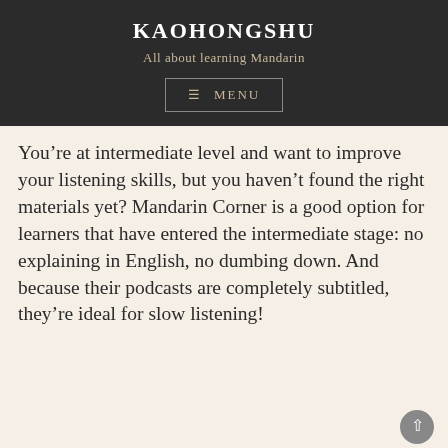KAOHONGSHU
All about learning Mandarin
≡ MENU
You're at intermediate level and want to improve your listening skills, but you haven't found the right materials yet? Mandarin Corner is a good option for learners that have entered the intermediate stage: no explaining in English, no dumbing down. And because their podcasts are completely subtitled, they're ideal for slow listening!